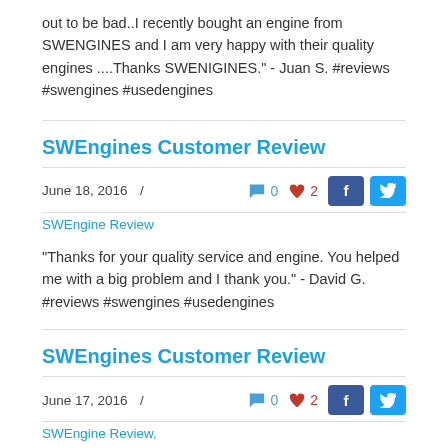out to be bad..I recently bought an engine from SWENGINES and I am very happy with their quality engines ....Thanks SWENIGINES." - Juan S. #reviews #swengines #usedengines
SWEngines Customer Review
June 18, 2016  /  SWEngine Review
"Thanks for your quality service and engine. You helped me with a big problem and I thank you." - David G. #reviews #swengines #usedengines
SWEngines Customer Review
June 17, 2016  /  SWEngine Review,